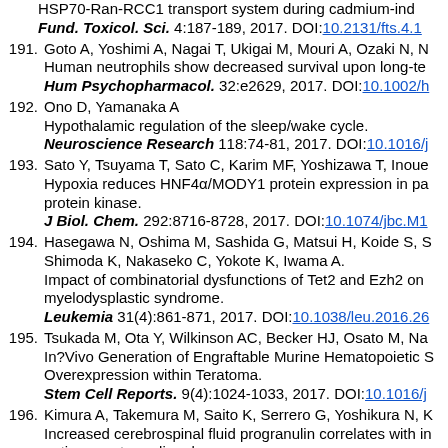[partial] HSP70-Ran-RCC1 transport system during cadmium-ind... Fund. Toxicol. Sci. 4:187-189, 2017. DOI:10.2131/fts.4.1...
191. Goto A, Yoshimi A, Nagai T, Ukigai M, Mouri A, Ozaki N, N... Human neutrophils show decreased survival upon long-te... Hum Psychopharmacol. 32:e2629, 2017. DOI:10.1002/h...
192. Ono D, Yamanaka A Hypothalamic regulation of the sleep/wake cycle. Neuroscience Research 118:74-81, 2017. DOI:10.1016/j...
193. Sato Y, Tsuyama T, Sato C, Karim MF, Yoshizawa T, Inoue... Hypoxia reduces HNF4α/MODY1 protein expression in pa... protein kinase. J Biol. Chem. 292:8716-8728, 2017. DOI:10.1074/jbc.M1...
194. Hasegawa N, Oshima M, Sashida G, Matsui H, Koide S, S... Shimoda K, Nakaseko C, Yokote K, Iwama A. Impact of combinatorial dysfunctions of Tet2 and Ezh2 on myelodysplastic syndrome. Leukemia 31(4):861-871, 2017. DOI:10.1038/leu.2016.26...
195. Tsukada M, Ota Y, Wilkinson AC, Becker HJ, Osato M, Na... In?Vivo Generation of Engraftable Murine Hematopoietic S... Overexpression within Teratoma. Stem Cell Reports. 9(4):1024-1033, 2017. DOI:10.1016/j...
196. Kimura A, Takemura M, Saito K, Serrero G, Yoshikura N, K... Increased cerebrospinal fluid progranulin correlates with in... optica spectrum disorder.